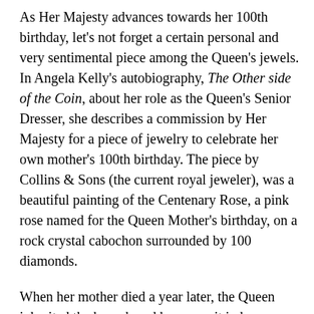As Her Majesty advances towards her 100th birthday, let's not forget a certain personal and very sentimental piece among the Queen's jewels. In Angela Kelly's autobiography, The Other side of the Coin, about her role as the Queen's Senior Dresser, she describes a commission by Her Majesty for a piece of jewelry to celebrate her own mother's 100th birthday. The piece by Collins & Sons (the current royal jeweler), was a beautiful painting of the Centenary Rose, a pink rose named for the Queen Mother's birthday, on a rock crystal cabochon surrounded by 100 diamonds.
When her mother died a year later, the Queen inherited the brooch and has worn it in her memory on several occasions, not least the 2002 Christmas broadcast after her mother's death. The renowned historian Suzanne Martinez, of Lang Antiques in San Francisco, said that as an American from a country whose Gilded Age jewels came to represent what was new and glossy of the